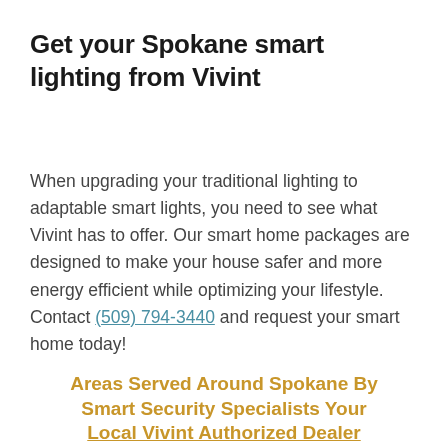Get your Spokane smart lighting from Vivint
When upgrading your traditional lighting to adaptable smart lights, you need to see what Vivint has to offer. Our smart home packages are designed to make your house safer and more energy efficient while optimizing your lifestyle. Contact (509) 794-3440 and request your smart home today!
Areas Served Around Spokane By Smart Security Specialists Your Local Vivint Authorized Dealer